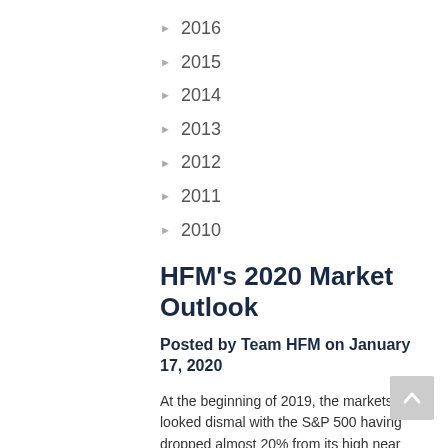▶ 2016
▶ 2015
▶ 2014
▶ 2013
▶ 2012
▶ 2011
▶ 2010
HFM's 2020 Market Outlook
Posted by Team HFM on January 17, 2020
At the beginning of 2019, the markets looked dismal with the S&P 500 having dropped almost 20% from its high near the end of September 2018 to its low on Christmas Eve. We were assuring you that we did not believe that we